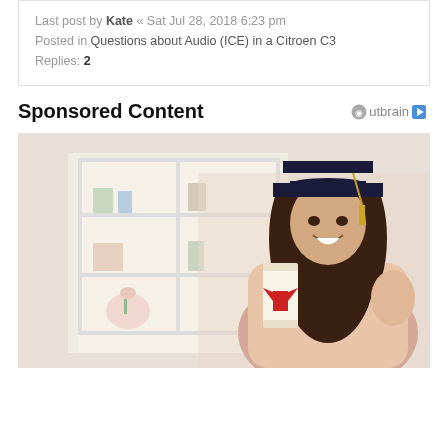Last post by Kate « Sat Jul 28, 2018 6:23 pm
Posted in Questions about Audio (ICE) in a Citroen C3
Replies: 2
Sponsored Content
[Figure (photo): Young woman in graduation cap and gown holding a diploma scroll tied with red ribbon, giving thumbs up, smiling, indoor background with bookshelves]